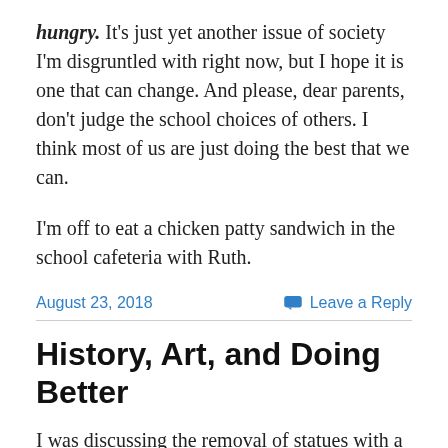hungry. It's just yet another issue of society I'm disgruntled with right now, but I hope it is one that can change. And please, dear parents, don't judge the school choices of others. I think most of us are just doing the best that we can.
I'm off to eat a chicken patty sandwich in the school cafeteria with Ruth.
August 23, 2018
Leave a Reply
History, Art, and Doing Better
I was discussing the removal of statues with a loved one and felt it should be given some context to enable a better